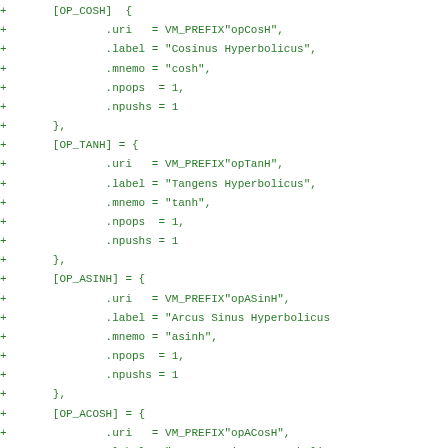+ [OP_COSH] {
+                .uri   = VM_PREFIX"opCosH",
+                .label = "Cosinus Hyperbolicus",
+                .mnemo = "cosh",
+                .npops  = 1,
+                .npushs = 1
+        },
+        [OP_TANH] = {
+                .uri   = VM_PREFIX"opTanH",
+                .label = "Tangens Hyperbolicus",
+                .mnemo = "tanh",
+                .npops  = 1,
+                .npushs = 1
+        },
+        [OP_ASINH] = {
+                .uri   = VM_PREFIX"opASinH",
+                .label = "Arcus Sinus Hyperbolicus
+                .mnemo = "asinh",
+                .npops  = 1,
+                .npushs = 1
+        },
+        [OP_ACOSH] = {
+                .uri   = VM_PREFIX"opACosH",
+                .label = "Arcus Cosinus Hyperbolic
+                .mnemo = "acosh",
+                .npops  = 1,
+                .npushs = 1
+        },
+        [OP_ATANH] = {
+                .uri   = VM_PREFIX"opATanH",
+                .label = "Arcus Tangens Hyperbolic